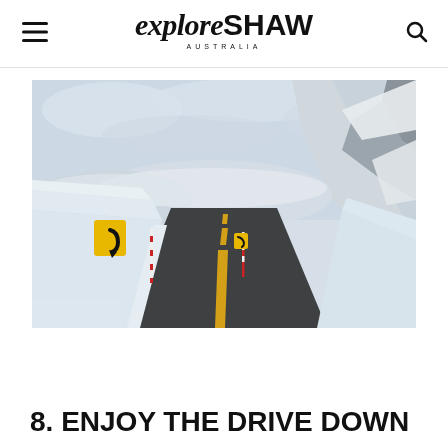exploreSHAW AUSTRALIA
[Figure (photo): A snow-covered mountain road with yellow warning road signs on the left side and snow-covered rocky cliffs on the right. The road curves ahead under an overcast sky.]
8. ENJOY THE DRIVE DOWN